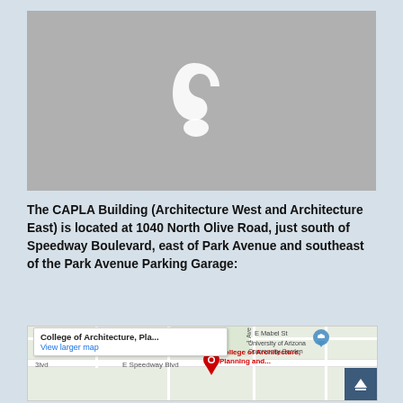[Figure (photo): Gray placeholder image with a white curved phone/bracket icon in the center]
The CAPLA Building (Architecture West and Architecture East) is located at 1040 North Olive Road, just south of Speedway Boulevard, east of Park Avenue and southeast of the Park Avenue Parking Garage:
[Figure (map): Google Maps screenshot showing College of Architecture, Planning and Landscape Architecture at University of Arizona, near E Speedway Blvd and Park Ave, Tucson AZ. Popup shows 'College of Architecture, Pla...' with 'View larger map' link. Red pin marks the building location with label 'College of Architecture, Planning and...']